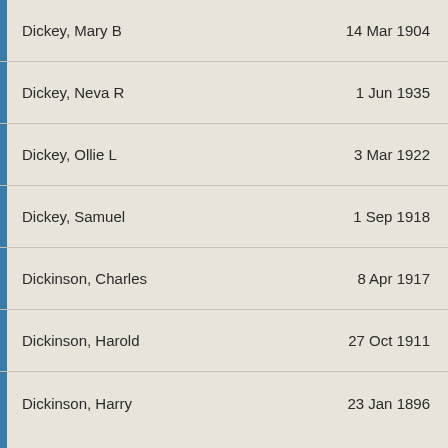Dickey, Mary B   14 Mar 1904
Dickey, Neva R   1 Jun 1935
Dickey, Ollie L   3 Mar 1922
Dickey, Samuel   1 Sep 1918
Dickinson, Charles   8 Apr 1917
Dickinson, Harold   27 Oct 1911
Dickinson, Harry   23 Jan 1896